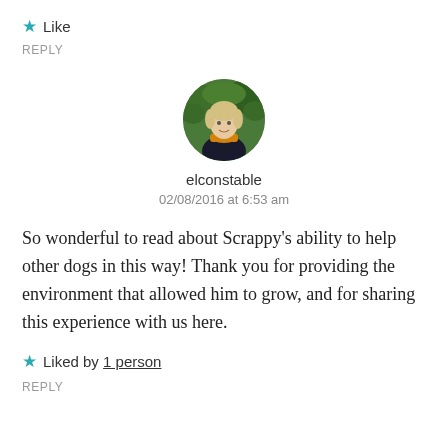★ Like
REPLY
[Figure (photo): Circular avatar photo of a woman with blonde hair and an orange scarf, standing in front of green foliage.]
elconstable
02/08/2016 at 6:53 am
So wonderful to read about Scrappy's ability to help other dogs in this way! Thank you for providing the environment that allowed him to grow, and for sharing this experience with us here.
★ Liked by 1 person
REPLY